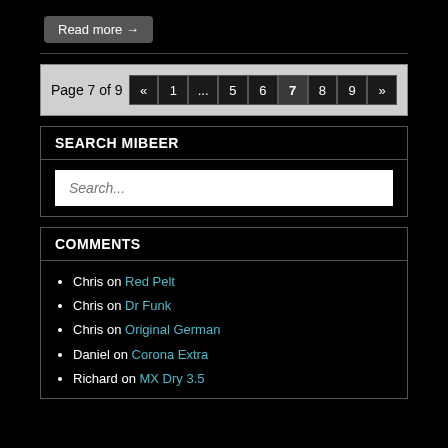Read more →
Page 7 of 9  «  1  ...  5  6  7  8  9  »
SEARCH MIBEER
Search...
COMMENTS
Chris on Red Pelt
Chris on Dr Funk
Chris on Original German
Daniel on Corona Extra
Richard on MX Dry 3.5